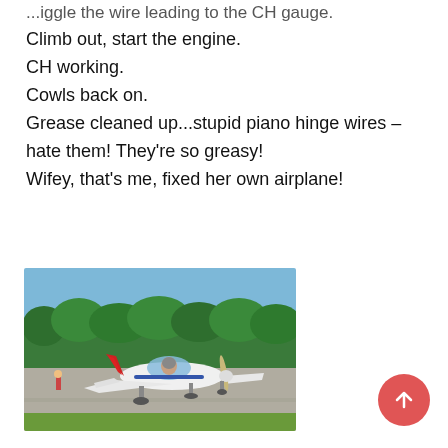...iggle the wire leading to the CH gauge.
Climb out, start the engine.
CH working.
Cowls back on.
Grease cleaned up...stupid piano hinge wires – hate them! They're so greasy!
Wifey, that's me, fixed her own airplane!
[Figure (photo): A small white and red single-engine airplane (appears to be a Van's RV-type kit aircraft) taxiing on a runway apron with green trees in the background. A person is visible in the cockpit.]